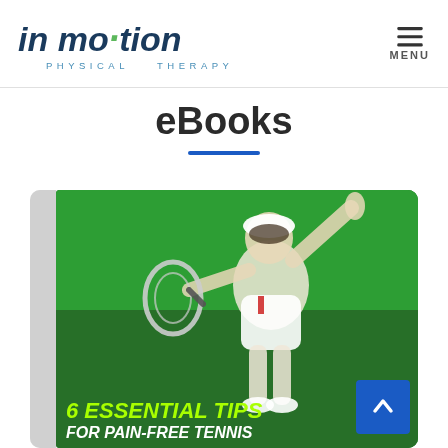in motion PHYSICAL THERAPY — MENU
eBooks
[Figure (photo): eBook cover showing a female tennis player serving, on a green background, with text '6 ESSENTIAL TIPS FOR PAIN-FREE TENNIS']